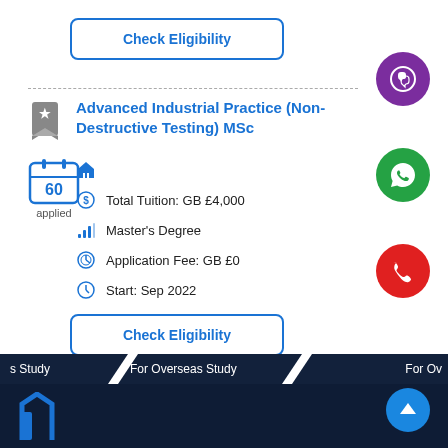Check Eligibility
Advanced Industrial Practice (Non-Destructive Testing) MSc
Total Tuition: GB £4,000
Master's Degree
Application Fee: GB £0
Start: Sep 2022
60 applied
Check Eligibility
s Study   For Overseas Study   For Ov